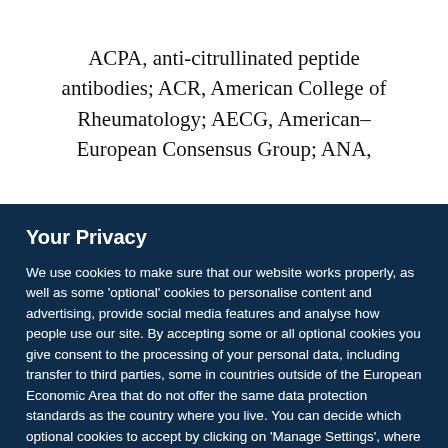ACPA, anti-citrullinated peptide antibodies; ACR, American College of Rheumatology; AECG, American–European Consensus Group; ANA,
Your Privacy
We use cookies to make sure that our website works properly, as well as some 'optional' cookies to personalise content and advertising, provide social media features and analyse how people use our site. By accepting some or all optional cookies you give consent to the processing of your personal data, including transfer to third parties, some in countries outside of the European Economic Area that do not offer the same data protection standards as the country where you live. You can decide which optional cookies to accept by clicking on 'Manage Settings', where you can also find more information about how your personal data is processed. Further information can be found in our privacy policy.
Accept all cookies
Manage preferences